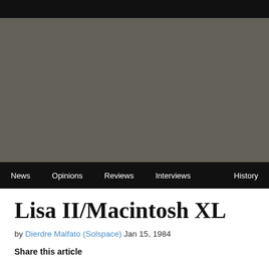[Figure (photo): Large dark gray/charcoal image area at top of page, likely a banner or hero image]
News  Opinions  Reviews  Interviews  History
Lisa II/Macintosh XL
by Dierdre Malfato (Solspace) Jan 15, 1984
Share this article